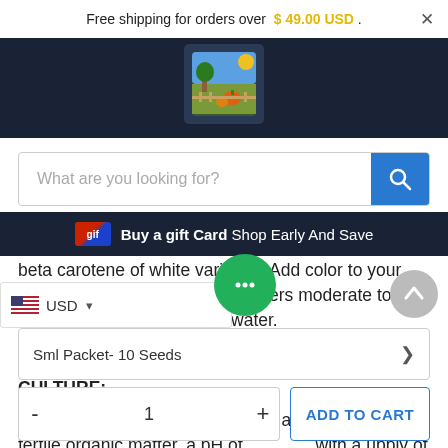Free shipping for orders over $ 49.00 USD .
[Figure (logo): Garden/farm themed logo with colorful illustration on dark navy navigation bar]
[Figure (screenshot): Search bar with placeholder text 'What are you looking for?' and blue search button]
Buy a gift Card Shop Early And Save
beta carotene of white varieties! Add color to your salads and gourmet dishes. Prefers moderate to cool temperatures and plenty of water.
CULTURE:
See cabbage. Cauliflower prefers a well-drained, fertile organic matter, a pH of with a upply of moisture throughout the growing
USD
Sml Packet- 10 Seeds
1
ADD TO CART